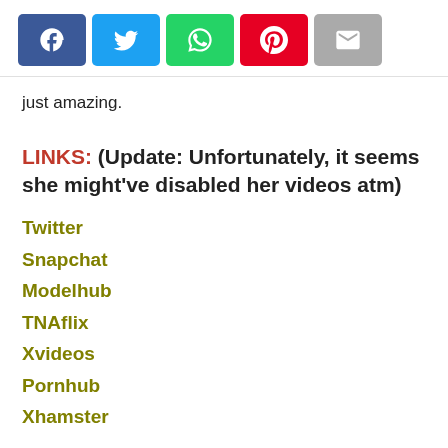[Figure (other): Social media share buttons: Facebook (blue), Twitter (cyan), WhatsApp (green), Pinterest (red), Email (gray)]
just amazing.
LINKS: (Update: Unfortunately, it seems she might've disabled her videos atm)
Twitter
Snapchat
Modelhub
TNAflix
Xvideos
Pornhub
Xhamster